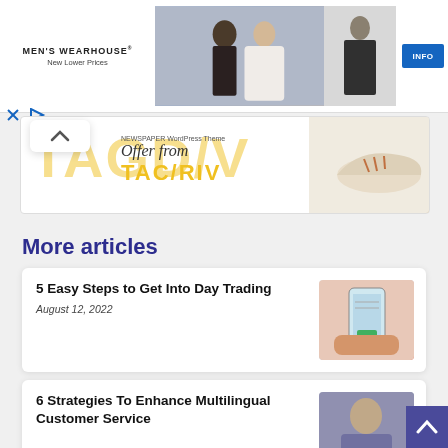[Figure (screenshot): Men's Wearhouse advertisement banner with couple in formal wear and man in suit, with INFO button]
[Figure (screenshot): TAGDIV NEWSPAPER WordPress Theme advertisement with shoe image and 'Offer from' text overlay]
More articles
5 Easy Steps to Get Into Day Trading
August 12, 2022
[Figure (photo): Hand holding smartphone showing trading app]
6 Strategies To Enhance Multilingual Customer Service
[Figure (photo): Person smiling, professional headshot]